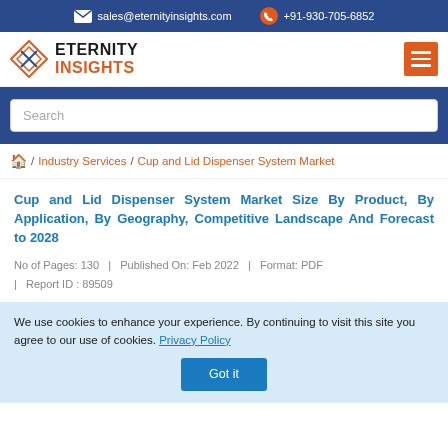sales@eternityinsights.com  +91-930-705-6852
[Figure (logo): Eternity Insights logo with diamond-shaped icon and text ETERNITY INSIGHTS]
Search
/ Industry Services / Cup and Lid Dispenser System Market
Cup and Lid Dispenser System Market Size By Product, By Application, By Geography, Competitive Landscape And Forecast to 2028
No of Pages: 130  |  Published On: Feb 2022  |  Format: PDF  |  Report ID : 89509
We use cookies to enhance your experience. By continuing to visit this site you agree to our use of cookies. Privacy Policy Got it